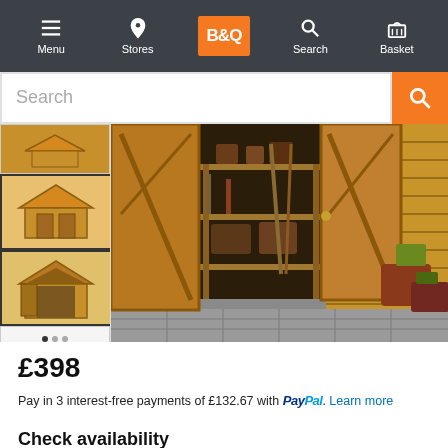Menu | Stores | B&Q | Search | Basket
Search
[Figure (photo): B&Q product page showing a wooden garden shed with open doors, with shelving inside and plant pots outside. Three thumbnail images on the left show different views of the shed.]
£398
Pay in 3 interest-free payments of £132.67 with PayPal. Learn more
Check availability